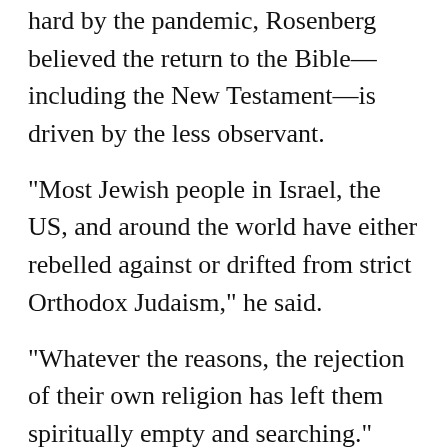hard by the pandemic, Rosenberg believed the return to the Bible—including the New Testament—is driven by the less observant.
“Most Jewish people in Israel, the US, and around the world have either rebelled against or drifted from strict Orthodox Judaism,” he said.
“Whatever the reasons, the rejection of their own religion has left them spiritually empty and searching.”
To address this need, the Joshua Fund published a 12-page fact sheet in English, Hebrew, and Arabic. It covers important Galileo...